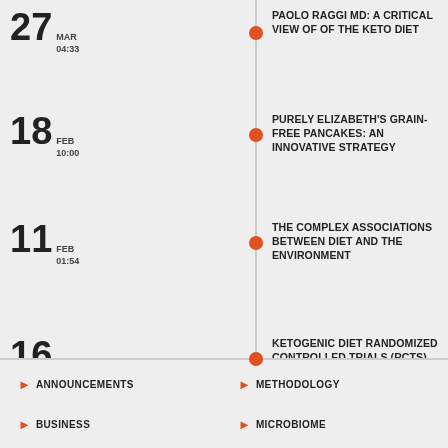27 MAR 04:33 — PAOLO RAGGI MD: A CRITICAL VIEW OF OF THE KETO DIET
18 FEB 10:00 — PURELY ELIZABETH'S GRAIN-FREE PANCAKES: AN INNOVATIVE STRATEGY
11 FEB 01:54 — THE COMPLEX ASSOCIATIONS BETWEEN DIET AND THE ENVIRONMENT
16 JAN 12:24 — KETOGENIC DIET RANDOMIZED CONTROLLED TRIALS (RCTS) RESEARCH REVIEW
13 JAN 10:10 — KEVIN'S NATURAL FOODS: MARKET ANALYSIS AND INNOVATION TO CREATE A NICHE
ANNOUNCEMENTS
METHODOLOGY
BUSINESS
MICROBIOME